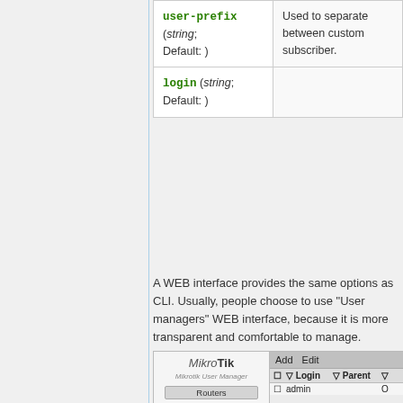| Parameter | Description |
| --- | --- |
| user-prefix (string; Default: ) | Used to separate between custom subscriber. |
| login (string; Default: ) |  |
A WEB interface provides the same options as CLI. Usually, people choose to use "User managers" WEB interface, because it is more transparent and comfortable to manage.
[Figure (screenshot): MikroTik User Manager web interface screenshot showing navigation buttons (Routers, Users, Sessions) on the left and a table with Add/Edit toolbar and columns Login, Parent on the right, with admin row visible.]